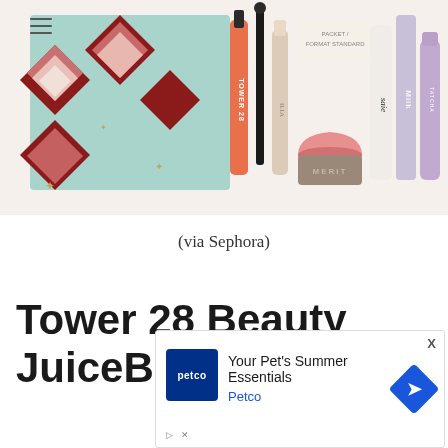[Figure (photo): Product photo showing a beauty advent calendar gift set box with multiple cosmetic products arranged in front, including items from Tower 28, ILIA, Merit, Saie, Milk, and Tatcha brands.]
(via Sephora)
Tower 28 Beauty JuiceBalm Tinted Lip Balm – Travel Size
[Figure (screenshot): Advertisement overlay from Petco: 'Your Pet's Summer Essentials' with Petco logo and navigation arrow icon. Has an X close button in the corner.]